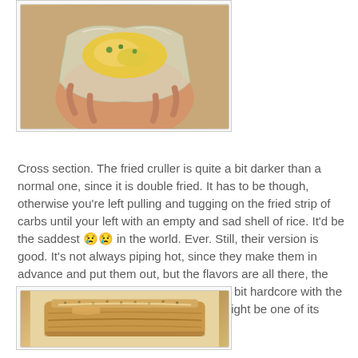[Figure (photo): Close-up photo of a hand holding a fried cruller wrapped in plastic/wax paper, showing the cross section with egg and green onions]
Cross section. The fried cruller is quite a bit darker than a normal one, since it is double fried. It has to be though, otherwise you're left pulling and tugging on the fried strip of carbs until your left with an empty and sad shell of rice. It'd be the saddest 😢😢 in the world. Ever. Still, their version is good. It's not always piping hot, since they make them in advance and put them out, but the flavors are all there, the textures are spot on. Maybe they went a bit hardcore with the peppers (it's unusually spicy), but that might be one of its charms.
[Figure (photo): Close-up photo of a fried cruller/youtiao showing the sesame-topped crispy exterior and layered bread interior]